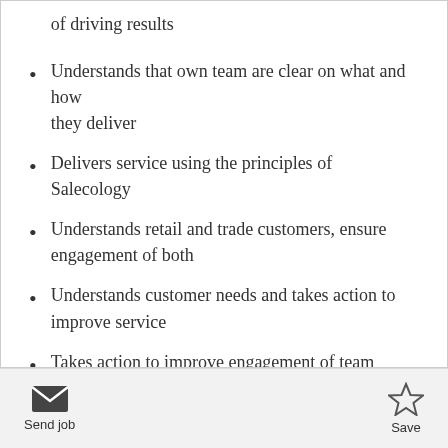of driving results
Understands that own team are clear on what and how they deliver
Delivers service using the principles of Salecology
Understands retail and trade customers, ensure engagement of both
Understands customer needs and takes action to improve service
Takes action to improve engagement of team
Operates a Stay Safe environment, safety is the `way of life`
Send job   Save